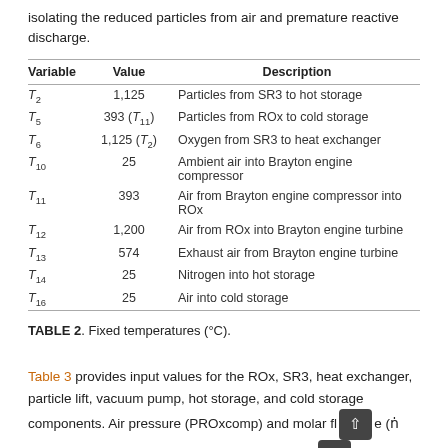isolating the reduced particles from air and premature reactive discharge.
| Variable | Value | Description |
| --- | --- | --- |
| T2 | 1,125 | Particles from SR3 to hot storage |
| T5 | 393 (T11) | Particles from ROx to cold storage |
| T6 | 1,125 (T2) | Oxygen from SR3 to heat exchanger |
| T10 | 25 | Ambient air into Brayton engine compressor |
| T11 | 393 | Air from Brayton engine compressor into ROx |
| T12 | 1,200 | Air from ROx into Brayton engine turbine |
| T13 | 574 | Exhaust air from Brayton engine turbine |
| T14 | 25 | Nitrogen into hot storage |
| T16 | 25 | Air into cold storage |
TABLE 2. Fixed temperatures (°C).
Table 3 provides input values for the ROx, SR3, heat exchanger, particle lift, vacuum pump, hot storage, and cold storage components. Air pressure (PROxcomp) and molar flow rate (ṅROxair) through the ROx are set equal to parameters given from the AE64.3A gas turbine specifications (Ansaldo Energia, 2013). Total particle residence time (tROxr) within the ROx is